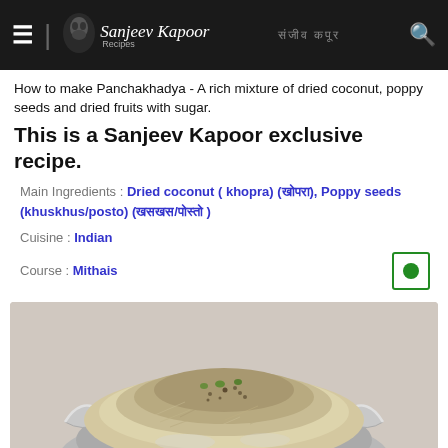Sanjeev Kapoor Recipes
How to make Panchakhadya - A rich mixture of dried coconut, poppy seeds and dried fruits with sugar.
This is a Sanjeev Kapoor exclusive recipe.
Main Ingredients : Dried coconut ( khopra) (खोपरा), Poppy seeds (khuskhus/posto) (खसखस/पोस्तो )
Cuisine : Indian
Course : Mithais
[Figure (photo): A decorative silver bowl filled with Panchakhadya - a mixture of dried coconut, poppy seeds and dried fruits]